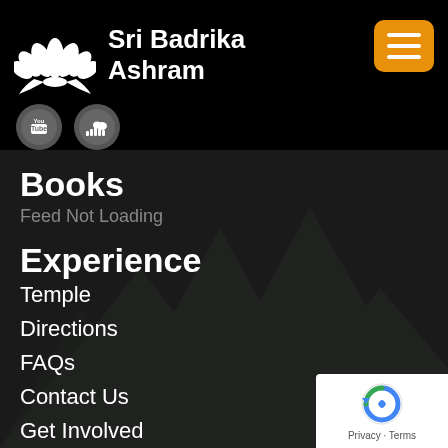Sri Badrika Ashram
[Figure (logo): Sri Badrika Ashram logo with lotus flower icon and site title]
[Figure (illustration): YouTube and SoundCloud social media icon buttons]
Books
Feed Not Loading
Experience
Temple
Directions
FAQs
Contact Us
Get Involved
Donate
Projects
Explore
About Swami
[Figure (logo): Google reCAPTCHA badge with Privacy and Terms text]